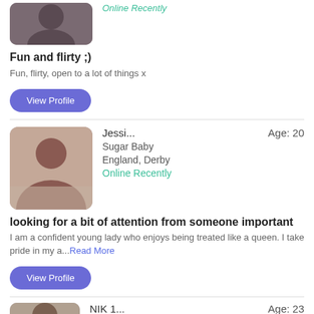[Figure (photo): Blurred profile photo of a person, partial view at top of page]
Online Recently
Fun and flirty ;)
Fun, flirty, open to a lot of things x
View Profile
[Figure (photo): Blurred profile photo of a young woman with dark hair, smiling]
Jessi...  Age: 20  Sugar Baby  England, Derby  Online Recently
looking for a bit of attention from someone important
I am a confident young lady who enjoys being treated like a queen. I take pride in my a...Read More
View Profile
[Figure (photo): Partial blurred profile photo at bottom of page]
NIK 1...  Age: 23